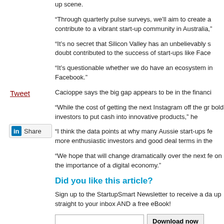up scene.
“Through quarterly pulse surveys, we’ll aim to create a contribute to a vibrant start-up community in Australia,”
“It’s no secret that Silicon Valley has an unbelievably s doubt contributed to the success of start-ups like Face
“It’s questionable whether we do have an ecosystem in Facebook.”
Cacioppe says the big gap appears to be in the financi
Tweet
“While the cost of getting the next Instagram off the gr bold investors to put cash into innovative products,” he
Share
“I think the data points at why many Aussie start-ups fe more enthusiastic investors and good deal terms in the
“We hope that will change dramatically over the next fe on the importance of a digital economy.”
Did you like this article?
Sign up to the StartupSmart Newsletter to receive a da up straight to your inbox AND a free eBook!
Download now
I wish to receive special offers via email from relate